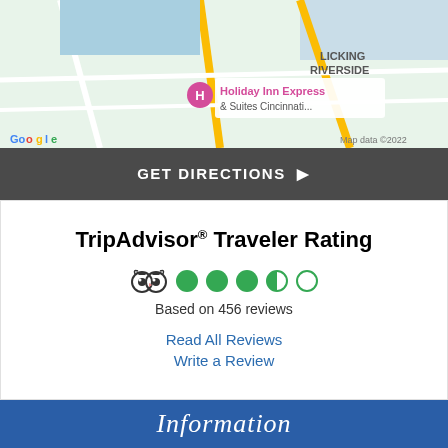[Figure (map): Google Maps screenshot showing Holiday Inn Express & Suites Cincinnati area with Licking Riverside neighborhood visible. Map data ©2022.]
GET DIRECTIONS ▶
TripAdvisor® Traveler Rating
[Figure (infographic): TripAdvisor owl logo with 4 green filled circles and 1 empty circle representing 4 out of 5 star rating]
Based on 456 reviews
Read All Reviews
Write a Review
Information
Cuisine
Seafood   Steakhouses   Steaks
Features